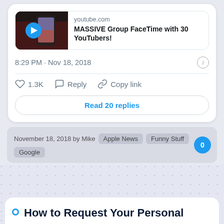[Figure (screenshot): Twitter/X tweet card showing a YouTube link preview for 'MASSIVE Group FaceTime with 30 YouTubers!' from youtube.com, with a video thumbnail. Below the preview: timestamp '8:29 PM · Nov 18, 2018', action buttons (1.3K likes, Reply, Copy link), and a 'Read 20 replies' button.]
8:29 PM · Nov 18, 2018
1.3K   Reply   Copy link
Read 20 replies
November 18, 2018 by Mike   Apple News   Funny Stuff   Google   0
How to Request Your Personal